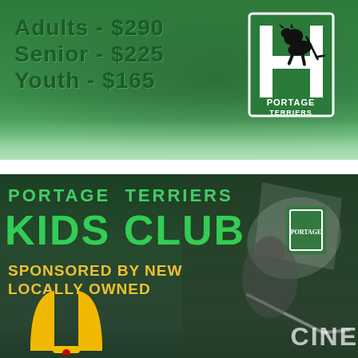[Figure (infographic): Portage Terriers season ticket pricing banner with green background showing Adults $290, Senior $225, Youth $165 with team logo]
[Figure (infographic): Portage Terriers Kids Club banner sponsored by new locally owned McDonald's, with green tinted hockey arena background and McDonald's golden arches logo]